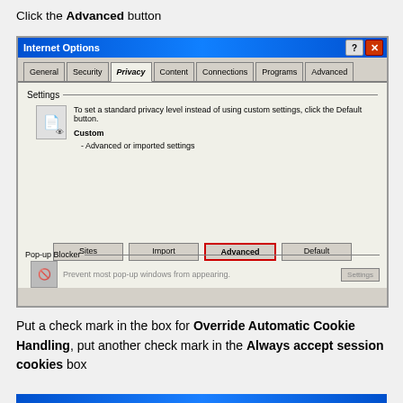Click the Advanced button
[Figure (screenshot): Internet Options dialog box showing Privacy tab with Sites, Import, Advanced (highlighted with red border), and Default buttons. Pop-up Blocker section visible at bottom.]
Put a check mark in the box for Override Automatic Cookie Handling, put another check mark in the Always accept session cookies box